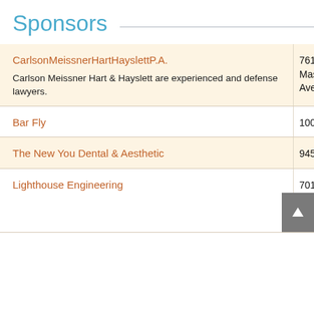Sponsors
| Sponsor | Address |
| --- | --- |
| CarlsonMeissnerHartHayslettP.A. | 7614 Massachusetts Ave |
| Bar Fly | 100 Main St #101 |
| The New You Dental & Aesthetic | 945 Main Street |
| Lighthouse Engineering | 701 Enterprise Road East Suite 410 |
Carlson Meissner Hart & Hayslett are experienced and defense lawyers.